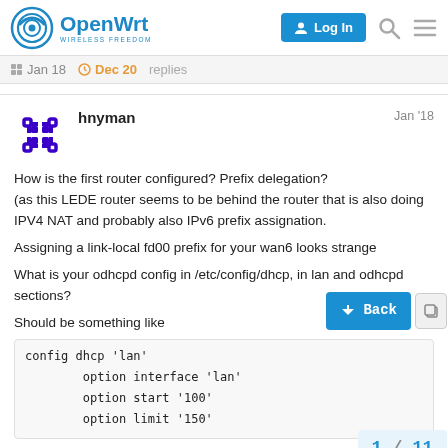OpenWrt — Log In
Jan 18  Dec 20  replies
hnyman  Jan '18
How is the first router configured? Prefix delegation?
(as this LEDE router seems to be behind the router that is also doing IPV4 NAT and probably also IPv6 prefix assignation.

Assigning a link-local fd00 prefix for your wan6 looks strange

What is your odhcpd config in /etc/config/dhcp, in lan and odhcpd sections?

Should be something like
config dhcp 'lan'
        option interface 'lan'
        option start '100'
        option limit '150'